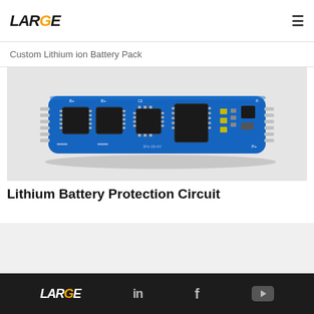LARGE — Custom Lithium ion Battery Pack
Custom Lithium ion Battery Pack
[Figure (photo): A blue lithium battery protection circuit board (BMS PCB) with multiple IC chips, MOSFETs, resistors and capacitors mounted on it, photographed at an angle on a light grey background.]
Lithium Battery Protection Circuit
LARGE — LinkedIn, Facebook, YouTube social icons